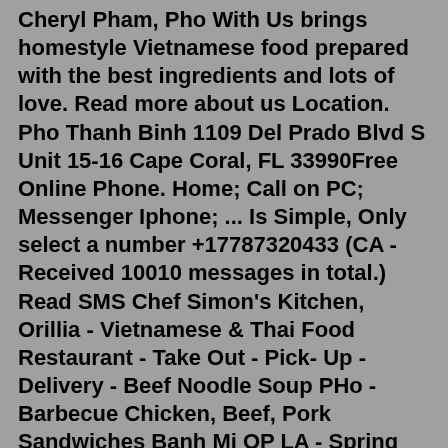Cheryl Pham, Pho With Us brings homestyle Vietnamese food prepared with the best ingredients and lots of love. Read more about us Location. Pho Thanh Binh 1109 Del Prado Blvd S Unit 15-16 Cape Coral, FL 33990Free Online Phone. Home; Call on PC; Messenger Iphone; ... Is Simple, Only select a number +17787320433 (CA - Received 10010 messages in total.) Read SMS Chef Simon's Kitchen, Orillia - Vietnamese & Thai Food Restaurant - Take Out - Pick- Up - Delivery - Beef Noodle Soup PHo - Barbecue Chicken, Beef, Pork Sandwiches Banh Mi OP LA - Spring Rolls | Orillia | Ontario Specialties: Located in the heart of north Austin, Pho Dinh was founded to share Vietnamese cuisine with our community. Our dishes are lovingly handcrafted in our kitchen by Mr. and Mrs. Dinh. For some, the flavors we create are familiar. Others may be trying something completely new. Either way, we're always delighted to serve homemade meals in our dining room. Pho, egg noodles, vermicelli ... Let us show